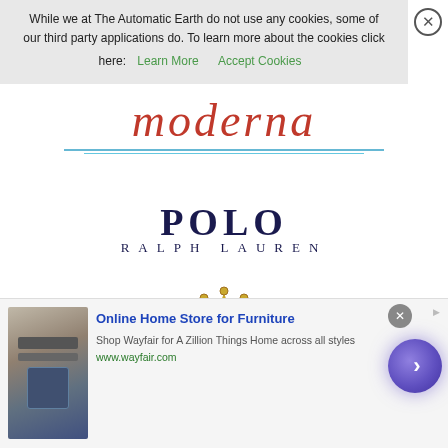While we at The Automatic Earth do not use any cookies, some of our third party applications do. To learn more about the cookies click here: Learn More | Accept Cookies
[Figure (logo): Moderna logo in red italic serif font with teal underline decoration]
[Figure (logo): Polo Ralph Lauren logo in dark navy serif font, two lines: POLO and RALPH LAUREN]
[Figure (logo): Rolex logo with gold crown icon above green ROLEX text]
[Figure (screenshot): Advertisement banner for Wayfair Online Home Store for Furniture with product image, text, and purple arrow button]